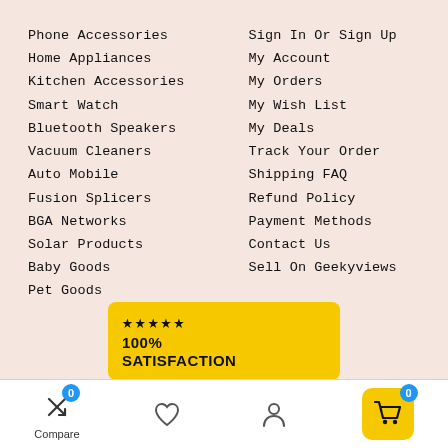Phone Accessories
Home Appliances
Kitchen Accessories
Smart Watch
Bluetooth Speakers
Vacuum Cleaners
Auto Mobile
Fusion Splicers
BGA Networks
Solar Products
Baby Goods
Pet Goods
Sign In Or Sign Up
My Account
My Orders
My Wish List
My Deals
Track Your Order
Shipping FAQ
Refund Policy
Payment Methods
Contact Us
Sell On Geekyviews
[Figure (infographic): 100% SATISFACTION banner with 5 black stars on yellow background]
[Figure (infographic): Bottom navigation bar with Compare (badge 0), heart/wishlist icon, user/account icon, and cart button (badge 0) on yellow background]